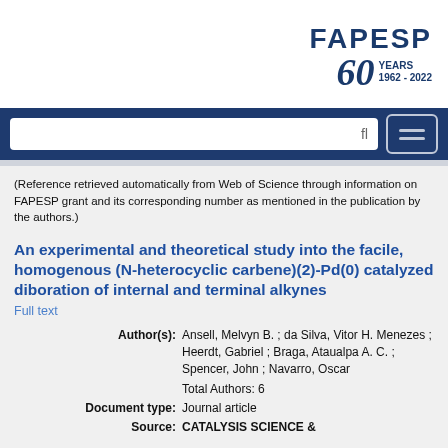[Figure (logo): FAPESP 60 Years 1962-2022 logo in dark blue]
FAPESP navigation bar with search box and menu button
(Reference retrieved automatically from Web of Science through information on FAPESP grant and its corresponding number as mentioned in the publication by the authors.)
An experimental and theoretical study into the facile, homogenous (N-heterocyclic carbene)(2)-Pd(0) catalyzed diboration of internal and terminal alkynes
Full text
| Author(s): | Ansell, Melvyn B. ; da Silva, Vitor H. Menezes ; Heerdt, Gabriel ; Braga, Ataualpa A. C. ; Spencer, John ; Navarro, Oscar |
|  | Total Authors: 6 |
| Document type: | Journal article |
| Source: | CATALYSIS SCIENCE & |